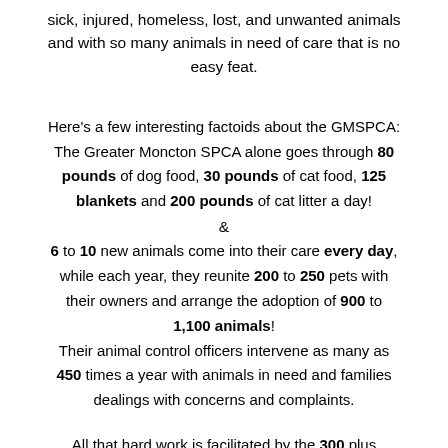sick, injured, homeless, lost, and unwanted animals and with so many animals in need of care that is no easy feat.
Here's a few interesting factoids about the GMSPCA: The Greater Moncton SPCA alone goes through 80 pounds of dog food, 30 pounds of cat food, 125 blankets and 200 pounds of cat litter a day! & 6 to 10 new animals come into their care every day, while each year, they reunite 200 to 250 pets with their owners and arrange the adoption of 900 to 1,100 animals! Their animal control officers intervene as many as 450 times a year with animals in need and families dealings with concerns and complaints.
All that hard work is facilitated by the 300 plus dedicated volunteers that help care for the animals